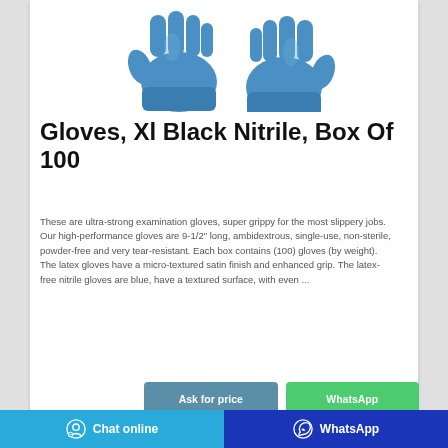[Figure (photo): Two blue nitrile examination gloves photographed against a white background, shown side by side.]
Gloves, Xl Black Nitrile, Box Of 100
These are ultra-strong examination gloves, super grippy for the most slippery jobs. Our high-performance gloves are 9-1/2" long, ambidextrous, single-use, non-sterile, powder-free and very tear-resistant. Each box contains (100) gloves (by weight). The latex gloves have a micro-textured satin finish and enhanced grip. The latex-free nitrile gloves are blue, have a textured surface, with even ...
Ask for price
WhatsApp
Chat online   WhatsApp